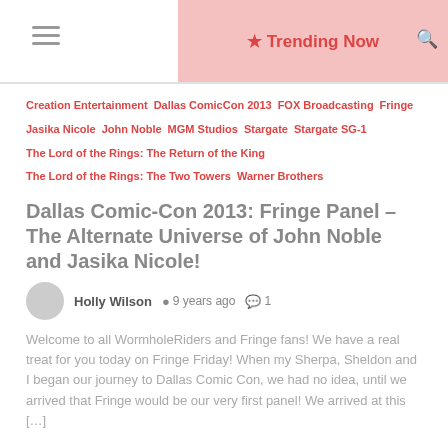Trending Now
Creation Entertainment  Dallas ComicCon 2013  FOX Broadcasting  Fringe  Jasika Nicole  John Noble  MGM Studios  Stargate  Stargate SG-1  The Lord of the Rings: The Return of the King  The Lord of the Rings: The Two Towers  Warner Brothers
Dallas Comic-Con 2013: Fringe Panel – The Alternate Universe of John Noble and Jasika Nicole!
Holly Wilson  9 years ago  1
Welcome to all WormholeRiders and Fringe fans! We have a real treat for you today on Fringe Friday! When my Sherpa, Sheldon and I began our journey to Dallas Comic Con, we had no idea, until we arrived that Fringe would be our very first panel! We arrived at this […]